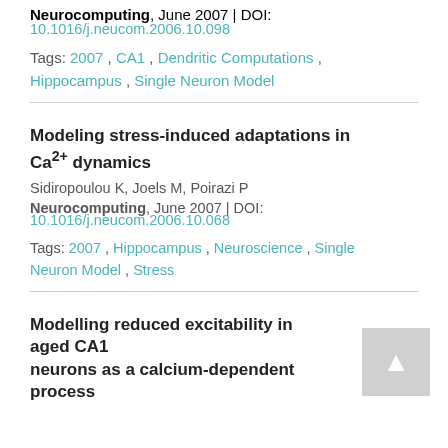Neurocomputing, June 2007 | DOI: 10.1016/j.neucom.2006.10.098
Tags: 2007 , CA1 , Dendritic Computations , Hippocampus , Single Neuron Model
Modeling stress-induced adaptations in Ca2+ dynamics
Sidiropoulou K, Joels M, Poirazi P
Neurocomputing, June 2007 | DOI: 10.1016/j.neucom.2006.10.068
Tags: 2007 , Hippocampus , Neuroscience , Single Neuron Model , Stress
Modelling reduced excitability in aged CA1 neurons as a calcium-dependent process